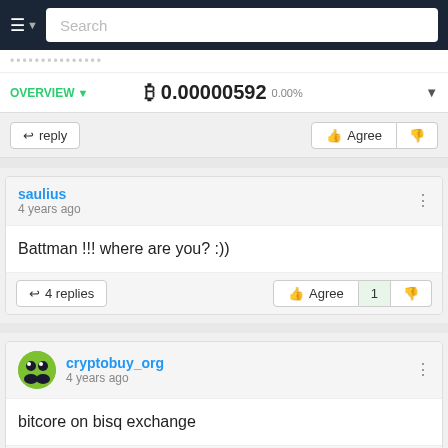Search
OVERVIEW ▾   ₿ 0.00000592   0.00% ▾
↩ reply   Agree   👎
saulius
4 years ago
Battman !!! where are you? :))
↩ 4 replies   Agree  1  👎
cryptobuy_org
4 years ago
bitcore on bisq exchange
↩ 2 replies   Agree   👎